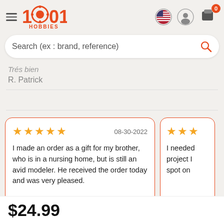1001 HOBBIES
Search (ex : brand, reference)
Trés bien
R. Patrick
I made an order as a gift for my brother, who is in a nursing home, but is still an avid modeler. He received the order today and was very pleased.
08-30-2022
I needed project I spot on
$24.99